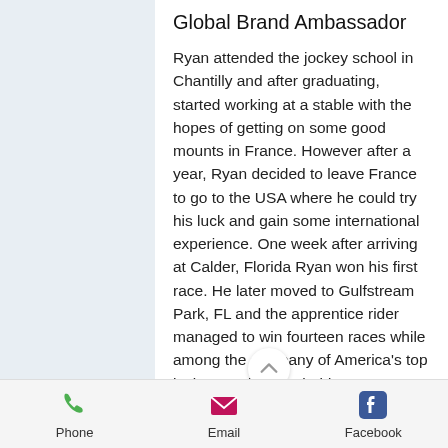Global Brand Ambassador
Ryan attended the jockey school in Chantilly and after graduating, started working at a stable with the hopes of getting on some good mounts in France. However after a year, Ryan decided to leave France to go to the USA where he could try his luck and gain some international experience. One week after arriving at Calder, Florida Ryan won his first race. He later moved to Gulfstream Park, FL and the apprentice rider managed to win fourteen races while among the company of America's top jockeys. While in Florida, Ryan caught the eye of the late Carl Lizza and signed on to become the first-call rider for Flying Zee Stable, which was the leading owner on the NY circuit at the time.
Phone  Email  Facebook